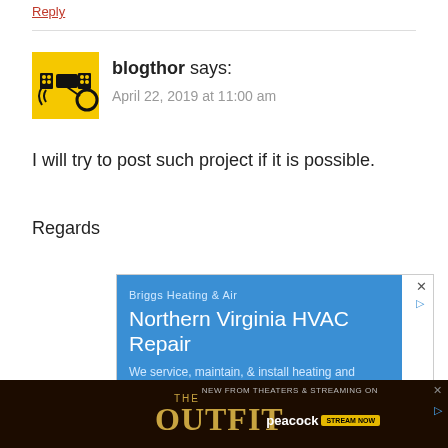Reply
[Figure (illustration): Blog comment avatar: yellow square with satellite/space black icon]
blogthor says:
April 22, 2019 at 11:00 am
I will try to post such project if it is possible.
Regards
[Figure (screenshot): Ad: Briggs Heating & Air - Northern Virginia HVAC Repair. We service, maintain, & install heating and cooling systems.]
[Figure (screenshot): Banner ad: THE OUTFIT - New from theaters & streaming on Peacock. Stream Now.]